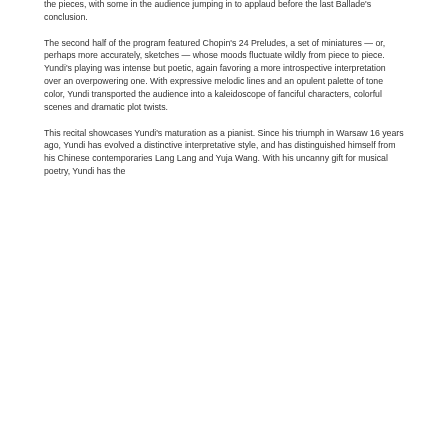the pieces, with some in the audience jumping in to applaud before the last Ballade's conclusion.
The second half of the program featured Chopin's 24 Preludes, a set of miniatures — or, perhaps more accurately, sketches — whose moods fluctuate wildly from piece to piece. Yundi's playing was intense but poetic, again favoring a more introspective interpretation over an overpowering one. With expressive melodic lines and an opulent palette of tone color, Yundi transported the audience into a kaleidoscope of fanciful characters, colorful scenes and dramatic plot twists.
This recital showcases Yundi's maturation as a pianist. Since his triumph in Warsaw 16 years ago, Yundi has evolved a distinctive interpretative style, and has distinguished himself from his Chinese contemporaries Lang Lang and Yuja Wang. With his uncanny gift for musical poetry, Yundi has the